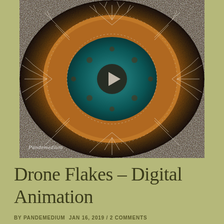[Figure (photo): A kaleidoscopic drone aerial photograph showing a symmetrical mandala-like pattern made from natural textures — teal/dark green center circle surrounded by orange-brown organic shapes (possibly dead coral, lichen or trees), with white fractal branching structures, repeated symmetrically. A circular play button is overlaid at center indicating a video thumbnail. A cursive watermark signature appears at bottom left.]
Drone Flakes – Digital Animation
BY PANDEMEDIUM JAN 16, 2019 / 2 COMMENTS